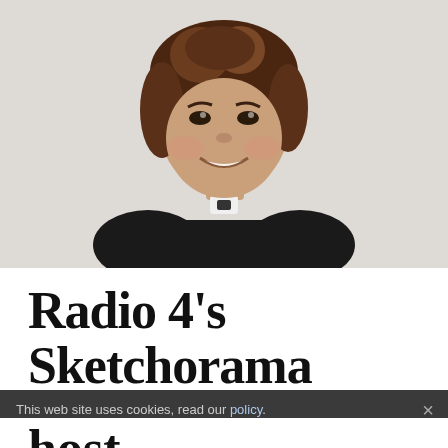[Figure (photo): A woman with short curly brown hair, wearing a black top with a white necklace/brooch detail, smiling at the camera against a light background.]
Radio 4's Sketchorama
This web site uses cookies, read our policy.
host